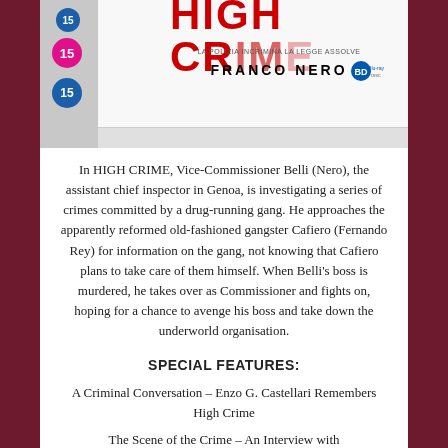[Figure (photo): Blu-ray box set of HIGH CRIME (La Polizia Incrimina La Legge Assolve) featuring Franco Nero, showing rating circles (15) and Blu-ray logo on a white box]
In HIGH CRIME, Vice-Commissioner Belli (Nero), the assistant chief inspector in Genoa, is investigating a series of crimes committed by a drug-running gang. He approaches the apparently reformed old-fashioned gangster Cafiero (Fernando Rey) for information on the gang, not knowing that Cafiero plans to take care of them himself. When Belli's boss is murdered, he takes over as Commissioner and fights on, hoping for a chance to avenge his boss and take down the underworld organisation.
SPECIAL FEATURES:
A Criminal Conversation – Enzo G. Castellari Remembers High Crime
The Scene of the Crime – An Interview with